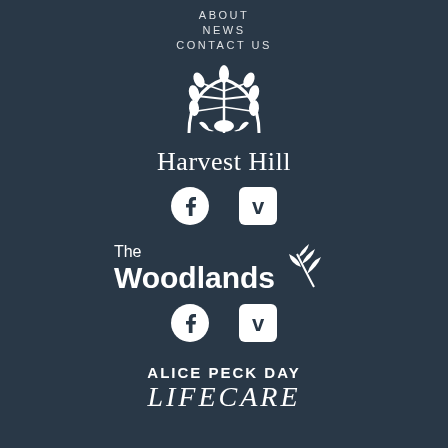ABOUT
NEWS
CONTACT US
[Figure (logo): Harvest Hill logo with wheat sheaf illustration and text 'Harvest Hill']
[Figure (logo): Facebook and Vimeo social media icons for Harvest Hill]
[Figure (logo): The Woodlands logo with branch/leaf illustration and text 'The Woodlands']
[Figure (logo): Facebook and Vimeo social media icons for The Woodlands]
[Figure (logo): Alice Peck Day Lifecare logo text]